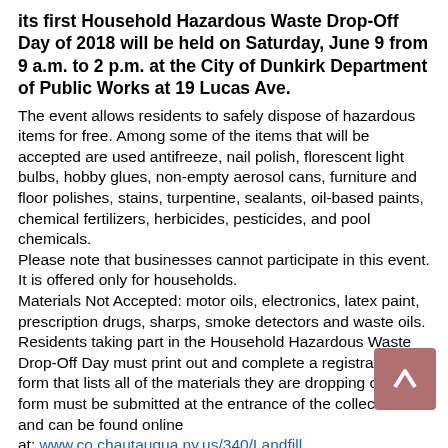its first Household Hazardous Waste Drop-Off Day of 2018 will be held on Saturday, June 9 from 9 a.m. to 2 p.m. at the City of Dunkirk Department of Public Works at 19 Lucas Ave.
The event allows residents to safely dispose of hazardous items for free. Among some of the items that will be accepted are used antifreeze, nail polish, florescent light bulbs, hobby glues, non-empty aerosol cans, furniture and floor polishes, stains, turpentine, sealants, oil-based paints, chemical fertilizers, herbicides, pesticides, and pool chemicals. Please note that businesses cannot participate in this event. It is offered only for households. Materials Not Accepted: motor oils, electronics, latex paint, prescription drugs, sharps, smoke detectors and waste oils. Residents taking part in the Household Hazardous Waste Drop-Off Day must print out and complete a registration form that lists all of the materials they are dropping off. The form must be submitted at the entrance of the collection site and can be found online at: www.co.chautauqua.ny.us/340/Landfill